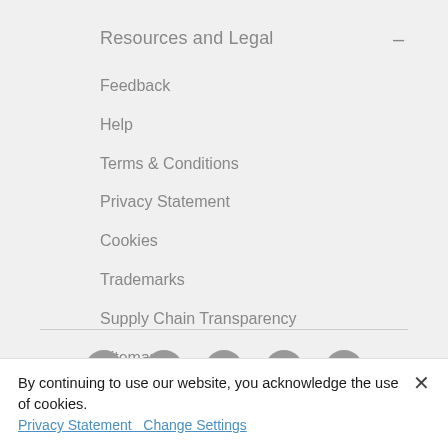Resources and Legal
Feedback
Help
Terms & Conditions
Privacy Statement
Cookies
Trademarks
Supply Chain Transparency
Sitemap
[Figure (infographic): Social media icons row: Facebook, Twitter, LinkedIn, YouTube, Instagram — all in gray circular buttons]
By continuing to use our website, you acknowledge the use of cookies.
Privacy Statement   Change Settings